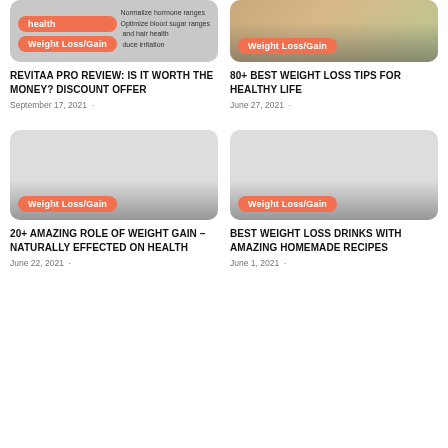[Figure (photo): Top-left card image with health badge and Weight Loss/Gain badge, showing text overlay about hormone ranges]
[Figure (photo): Top-right card image with food/fruit bowl photo and Weight Loss/Gain badge]
REVITAA PRO REVIEW: IS IT WORTH THE MONEY? DISCOUNT OFFER
September 17, 2021
80+ BEST WEIGHT LOSS TIPS FOR HEALTHY LIFE
June 27, 2021
[Figure (photo): Bottom-left card image placeholder with Weight Loss/Gain badge]
[Figure (photo): Bottom-right card image placeholder with Weight Loss/Gain badge]
20+ AMAZING ROLE OF WEIGHT GAIN – NATURALLY EFFECTED ON HEALTH
June 22, 2021
BEST WEIGHT LOSS DRINKS WITH AMAZING HOMEMADE RECIPES
June 1, 2021